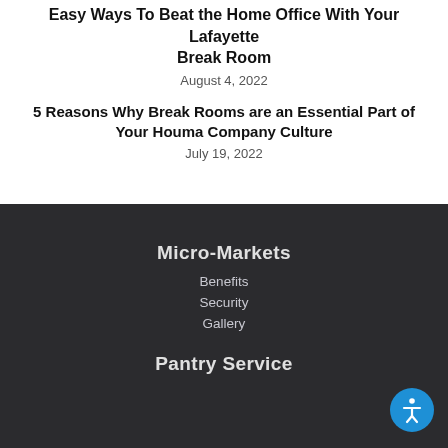Easy Ways To Beat the Home Office With Your Lafayette Break Room
August 4, 2022
5 Reasons Why Break Rooms are an Essential Part of Your Houma Company Culture
July 19, 2022
Micro-Markets
Benefits
Security
Gallery
Pantry Service